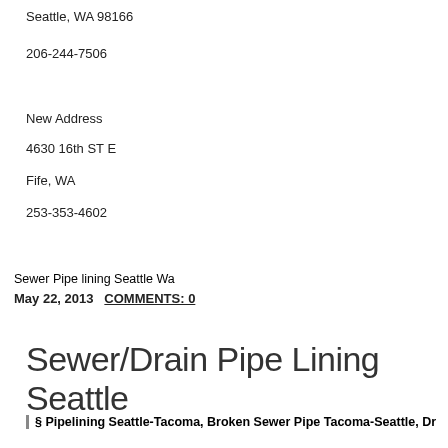Seattle, WA 98166
206-244-7506
New Address
4630 16th ST E
Fife, WA
253-353-4602
Sewer Pipe lining Seattle Wa
May 22, 2013   COMMENTS: 0
Sewer/Drain Pipe Lining Seattle
§ Pipelining Seattle-Tacoma, Broken Sewer Pipe Tacoma-Seattle, Dr